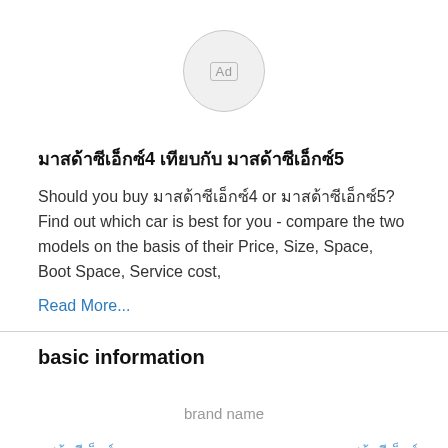[Figure (other): Ad label in a circle button at top center of page]
มาสด้าซีเอ็กซ์4 เทียบกับ มาสด้าซีเอ็กซ์5
Should you buy มาสด้าซีเอ็กซ์4 or มาสด้าซีเอ็กซ์5? Find out which car is best for you - compare the two models on the basis of their Price, Size, Space, Boot Space, Service cost,
Read More...
basic information
brand name
มาสด้าซีเอ็กซ์
มาสด้าซีเอ็กซ์